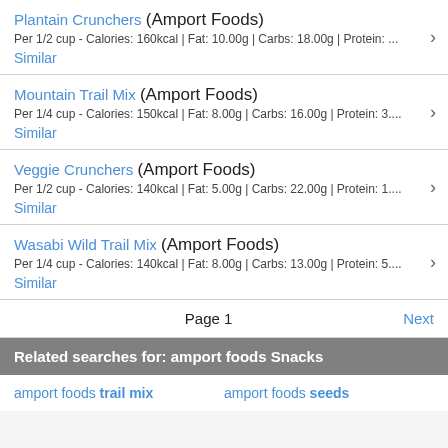Plantain Crunchers (Amport Foods)
Per 1/2 cup - Calories: 160kcal | Fat: 10.00g | Carbs: 18.00g | Protein: ...
Similar
Mountain Trail Mix (Amport Foods)
Per 1/4 cup - Calories: 150kcal | Fat: 8.00g | Carbs: 16.00g | Protein: 3....
Similar
Veggie Crunchers (Amport Foods)
Per 1/2 cup - Calories: 140kcal | Fat: 5.00g | Carbs: 22.00g | Protein: 1....
Similar
Wasabi Wild Trail Mix (Amport Foods)
Per 1/4 cup - Calories: 140kcal | Fat: 8.00g | Carbs: 13.00g | Protein: 5....
Similar
Page 1   Next
Related searches for: amport foods Snacks
amport foods trail mix   amport foods seeds